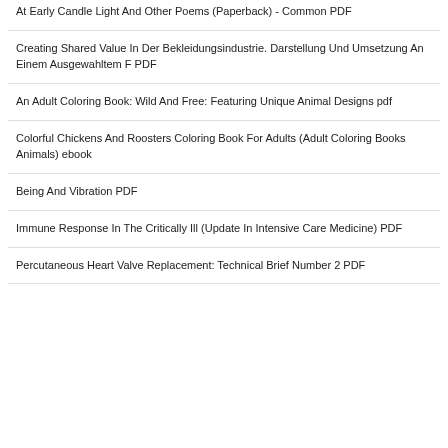At Early Candle Light And Other Poems (Paperback) - Common PDF
Creating Shared Value In Der Bekleidungsindustrie. Darstellung Und Umsetzung An Einem Ausgewahltem F PDF
An Adult Coloring Book: Wild And Free: Featuring Unique Animal Designs pdf
Colorful Chickens And Roosters Coloring Book For Adults (Adult Coloring Books Animals) ebook
Being And Vibration PDF
Immune Response In The Critically Ill (Update In Intensive Care Medicine) PDF
Percutaneous Heart Valve Replacement: Technical Brief Number 2 PDF